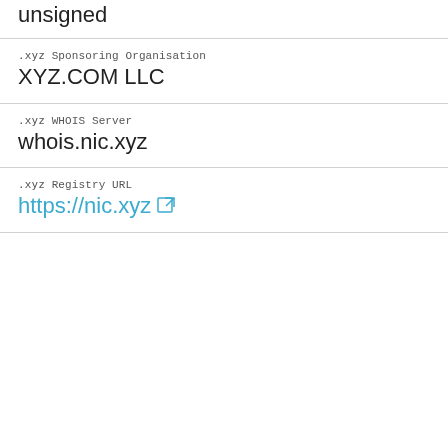unsigned
.xyz Sponsoring Organisation
XYZ.COM LLC
.xyz WHOIS Server
whois.nic.xyz
.xyz Registry URL
https://nic.xyz